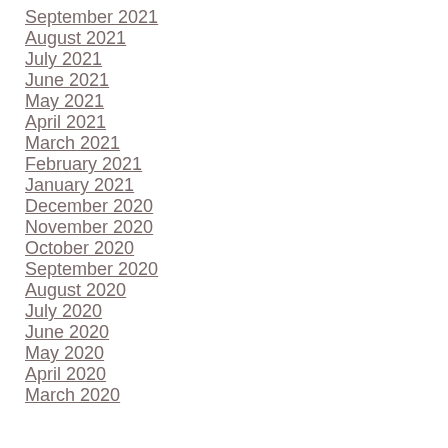September 2021
August 2021
July 2021
June 2021
May 2021
April 2021
March 2021
February 2021
January 2021
December 2020
November 2020
October 2020
September 2020
August 2020
July 2020
June 2020
May 2020
April 2020
March 2020